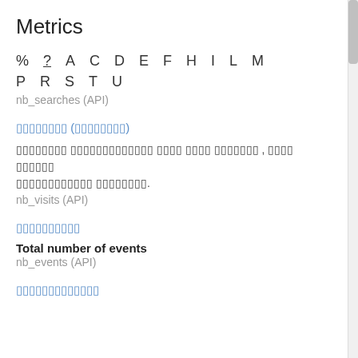Metrics
% ? A C D E F H I L M P R S T U
nb_searches (API)
[corrupted unicode link]
[corrupted unicode text block]
nb_visits (API)
[corrupted unicode link]
Total number of events
nb_events (API)
[corrupted unicode link]